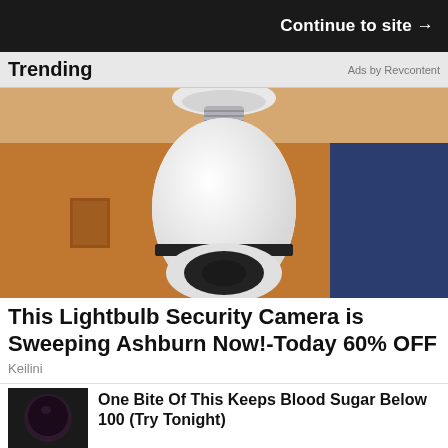Continue to site →
Trending
Ads by Revcontent
[Figure (photo): Close-up photo of a white lightbulb security camera screwed into a ceiling socket, in a warm-toned room.]
This Lightbulb Security Camera is Sweeping Ashburn Now!-Today 60% OFF
Keilini
[Figure (photo): Small thumbnail of a dark food item, possibly a blueberry or blackberry.]
One Bite Of This Keeps Blood Sugar Below 100 (Try Tonight)